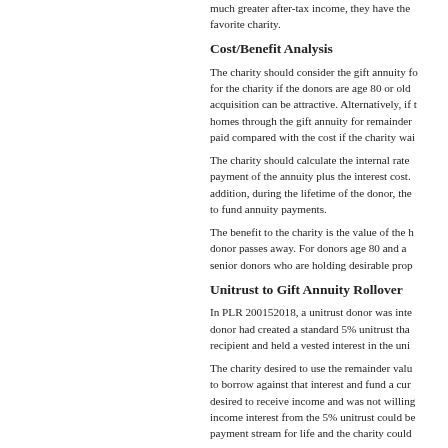much greater after-tax income, they have the favorite charity.
Cost/Benefit Analysis
The charity should consider the gift annuity for the charity if the donors are age 80 or older acquisition can be attractive. Alternatively, if t homes through the gift annuity for remainder paid compared with the cost if the charity wai
The charity should calculate the internal rate payment of the annuity plus the interest cost. addition, during the lifetime of the donor, the to fund annuity payments.
The benefit to the charity is the value of the h donor passes away. For donors age 80 and a senior donors who are holding desirable prop
Unitrust to Gift Annuity Rollover
In PLR 200152018, a unitrust donor was inte donor had created a standard 5% unitrust tha recipient and held a vested interest in the uni
The charity desired to use the remainder valu to borrow against that interest and fund a cur desired to receive income and was not willing income interest from the 5% unitrust could be payment stream for life and the charity could